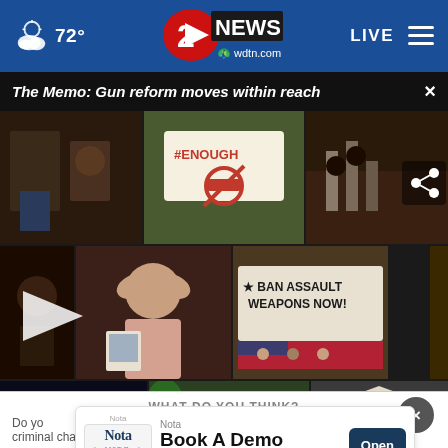72° | 2 NEWS wdtn.com | LIVE
The Memo: Gun reform moves within reach
[Figure (photo): Photo collage of gun reform protests, vigils, and related news images including #ENOUGH signs, BAN ASSAULT WEAPONS NOW banner, Uvalde memorial, and other gun protest imagery]
WHAT DO YOU THINK?
Do yo
criminal charges for his handling of classified and sensitive
[Figure (other): Advertisement banner: Nota - Book A Demo Today - Open button]